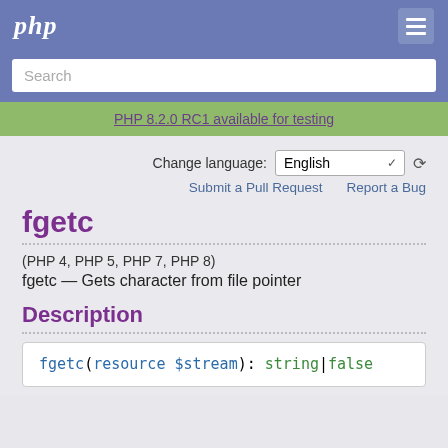php
Search
PHP 8.2.0 RC1 available for testing
Change language: English
Submit a Pull Request   Report a Bug
fgetc
(PHP 4, PHP 5, PHP 7, PHP 8)
fgetc — Gets character from file pointer
Description